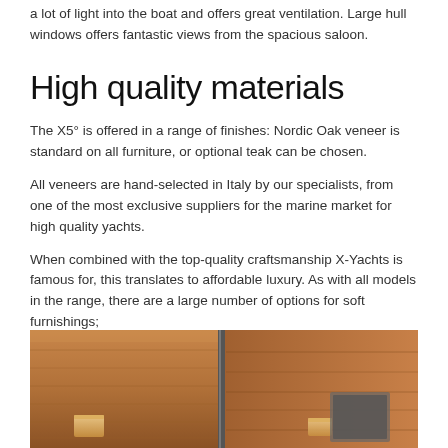a lot of light into the boat and offers great ventilation. Large hull windows offers fantastic views from the spacious saloon.
High quality materials
The X5° is offered in a range of finishes: Nordic Oak veneer is standard on all furniture, or optional teak can be chosen.
All veneers are hand-selected in Italy by our specialists, from one of the most exclusive suppliers for the marine market for high quality yachts.
When combined with the top-quality craftsmanship X-Yachts is famous for, this translates to affordable luxury. As with all models in the range, there are a large number of options for soft furnishings;
[Figure (photo): Interior photo of a yacht saloon showing warm teak wood paneling, a central vertical support, and wall-mounted lamps.]